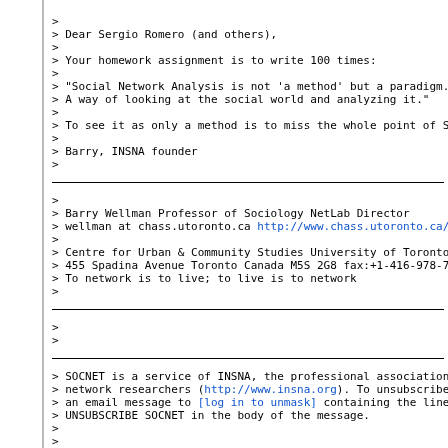>
> Dear Sergio Romero (and others),
>
> Your homework assignment is to write 100 times:
>
> "Social Network Analysis is not 'a method' but a paradigm.
> A way of looking at the social world and analyzing it."
>
> To see it as only a method is to miss the whole point of SNA.
>
> Barry, INSNA founder
>
>
> Barry Wellman Professor of Sociology NetLab Director
> wellman at chass.utoronto.ca http://www.chass.utoronto.ca/~wellman
>
> Centre for Urban & Community Studies University of Toronto
> 455 Spadina Avenue Toronto Canada M5S 2G8 fax:+1-416-978-7162
> To network is to live; to live is to network
>
>
>
> SOCNET is a service of INSNA, the professional association for social
> network researchers (http://www.insna.org). To unsubscribe, send
> an email message to [log in to unmask] containing the line
> UNSUBSCRIBE SOCNET in the body of the message.
>
>
>